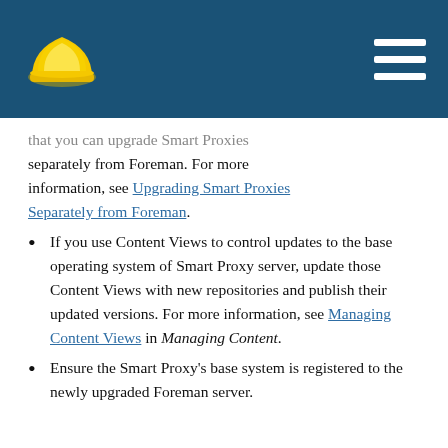[Foreman documentation site header with helmet logo and navigation menu]
that you can upgrade Smart Proxies separately from Foreman. For more information, see Upgrading Smart Proxies Separately from Foreman.
If you use Content Views to control updates to the base operating system of Smart Proxy server, update those Content Views with new repositories and publish their updated versions. For more information, see Managing Content Views in Managing Content.
Ensure the Smart Proxy's base system is registered to the newly upgraded Foreman server.